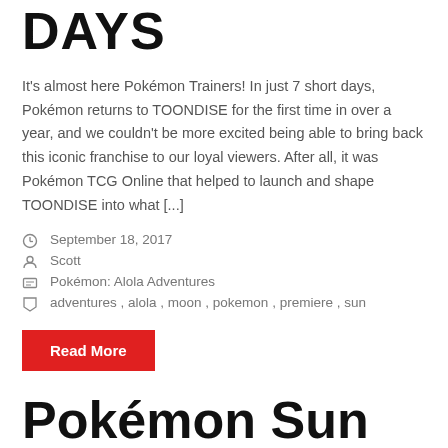DAYS
It's almost here Pokémon Trainers! In just 7 short days, Pokémon returns to TOONDISE for the first time in over a year, and we couldn't be more excited being able to bring back this iconic franchise to our loyal viewers. After all, it was Pokémon TCG Online that helped to launch and shape TOONDISE into what [...]
September 18, 2017
Scott
Pokémon: Alola Adventures
adventures , alola , moon , pokemon , premiere , sun
Read More
Pokémon Sun and Moon: Alola